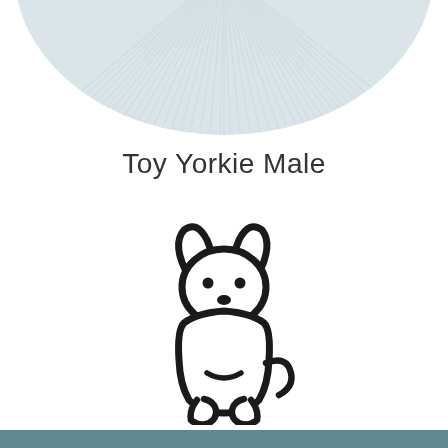[Figure (photo): Fluffy white/light gray fur texture shown in a circular crop at the top of the page]
Toy Yorkie Male
[Figure (illustration): Simple black outline icon of a sitting puppy dog, cute cartoon style, facing forward with ears, two dot eyes, a small nose, front paws, body, and a tail to the right]